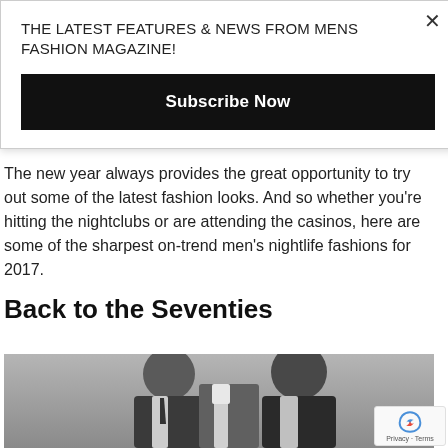THE LATEST FEATURES & NEWS FROM MENS FASHION MAGAZINE!
Subscribe Now
The new year always provides the great opportunity to try out some of the latest fashion looks. And so whether you're hitting the nightclubs or are attending the casinos, here are some of the sharpest on-trend men's nightlife fashions for 2017.
Back to the Seventies
[Figure (photo): Black and white photo of a man in a suit adjusting his tie]